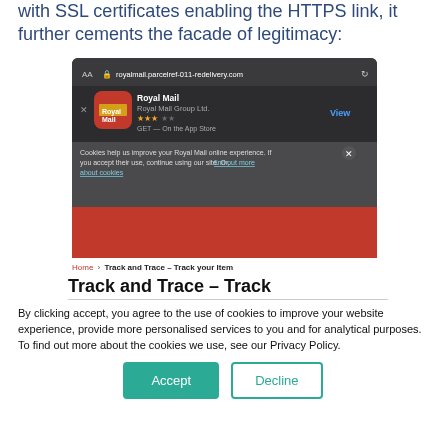with SSL certificates enabling the HTTPS link, it further cements the facade of legitimacy:
[Figure (screenshot): Mobile browser screenshot showing a phishing site at royalmail.parcelref-011-redelivery.com with Royal Mail branding, app store prompt, cookie consent banner, and Track and Trace page partial view with Accept/Decline cookie buttons.]
Screenshot of phishing site impersonating Royal Mail with HTTPS and Royal Mail branding